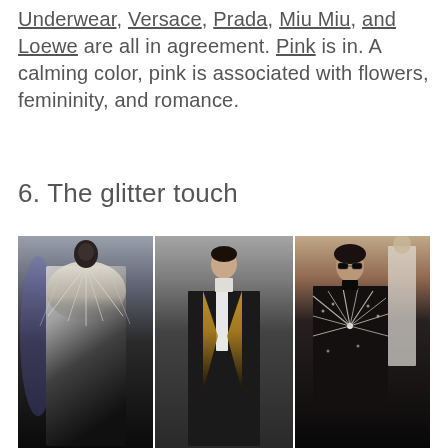Underwear, Versace, Prada, Miu Miu, and Loewe are all in agreement. Pink is in. A calming color, pink is associated with flowers, femininity, and romance.
6. The glitter touch
[Figure (photo): Three fashion runway photos side by side showing male models wearing glittery, embellished outerwear: left model in a long black coat with silver crystalline feather-like embellishments, center model in a black suit with gold sequined lapels and trim, right model in a black velvet jacket with white starburst crystal embroidery pattern.]